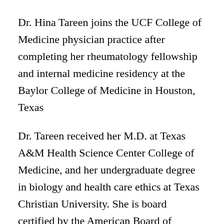Dr. Hina Tareen joins the UCF College of Medicine physician practice after completing her rheumatology fellowship and internal medicine residency at the Baylor College of Medicine in Houston, Texas
Dr. Tareen received her M.D. at Texas A&M Health Science Center College of Medicine, and her undergraduate degree in biology and health care ethics at Texas Christian University. She is board certified by the American Board of Internal Medicine. During her training she received the Arnold P. Gold Foundation Humanism in Medicine award for exhibiting humanism, compassion, excellence in clinical care, dedication and leadership.
Dr. Tareen was drawn to rheumatology because she